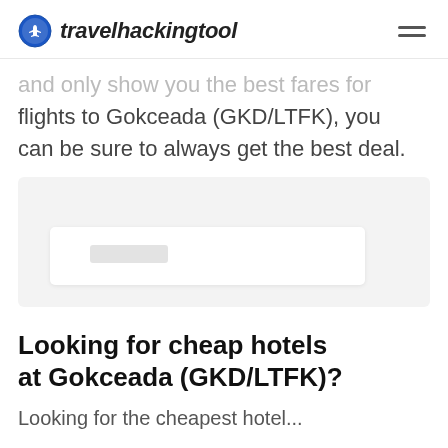travelhackingtool
and only show you the best fares for flights to Gokceada (GKD/LTFK), you can be sure to always get the best deal.
[Figure (screenshot): A widget/embed placeholder with a light gray background and a white inner box with a small gray blob, representing a flight search or booking widget]
Looking for cheap hotels at Gokceada (GKD/LTFK)?
Looking for the cheapest hotel...